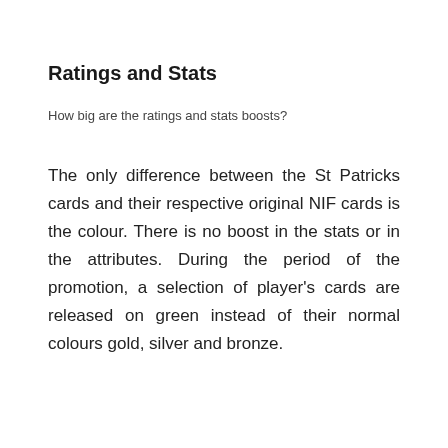Ratings and Stats
How big are the ratings and stats boosts?
The only difference between the St Patricks cards and their respective original NIF cards is the colour. There is no boost in the stats or in the attributes. During the period of the promotion, a selection of player’s cards are released on green instead of their normal colours gold, silver and bronze.